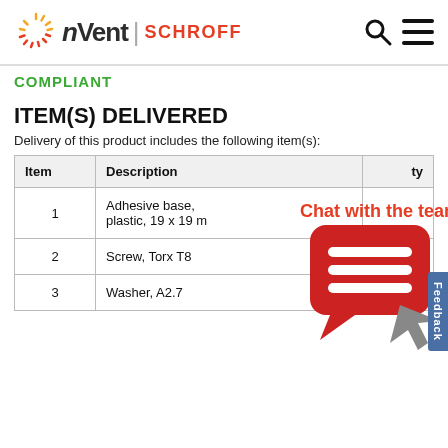[Figure (logo): nVent SCHROFF logo with sunburst graphic and search/menu icons in header]
COMPLIANT
ITEM(S) DELIVERED
Delivery of this product includes the following item(s):
| Item | Description | Qty |
| --- | --- | --- |
| 1 | Adhesive base, plastic, 19 x 19 m |  |
| 2 | Screw, Torx T8 | 10 |
| 3 | Washer, A2.7 | 10 |
[Figure (illustration): Chat with the team overlay popup with red speech bubble and grey cursor icon]